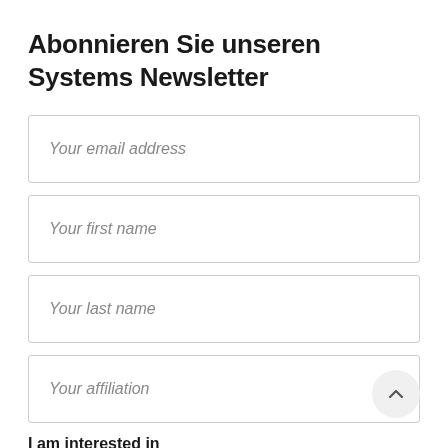Abonnieren Sie unseren Systems Newsletter
Your email address
Your first name
Your last name
Your affiliation
I am interested in
Systems Science